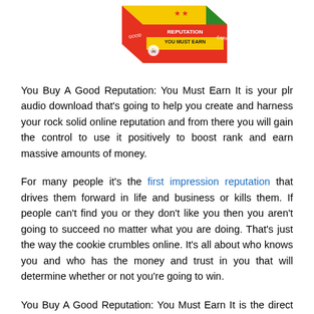[Figure (illustration): Colorful 3D box product image for 'You Buy A Good Reputation: You Must Earn It' PLR audio download, showing a box with bold graphic design in red, yellow, green, and blue colors with text on the sides.]
You Buy A Good Reputation: You Must Earn It is your plr audio download that's going to help you create and harness your rock solid online reputation and from there you will gain the control to use it positively to boost rank and earn massive amounts of money.
For many people it's the first impression reputation that drives them forward in life and business or kills them. If people can't find you or they don't like you then you aren't going to succeed no matter what you are doing. That's just the way the cookie crumbles online. It's all about who knows you and who has the money and trust in you that will determine whether or not you're going to win.
You Buy A Good Reputation: You Must Earn It is the direct take-action download that's going to drive you to build your presence